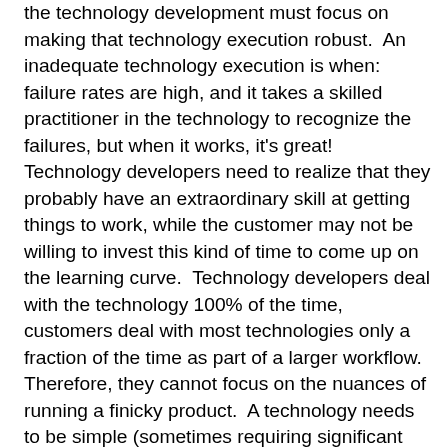the technology development must focus on making that technology execution robust. An inadequate technology execution is when: failure rates are high, and it takes a skilled practitioner in the technology to recognize the failures, but when it works, it's great! Technology developers need to realize that they probably have an extraordinary skill at getting things to work, while the customer may not be willing to invest this kind of time to come up on the learning curve. Technology developers deal with the technology 100% of the time, customers deal with most technologies only a fraction of the time as part of a larger workflow. Therefore, they cannot focus on the nuances of running a finicky product. A technology needs to be simple (sometimes requiring significant automation to conduct the difficult tasks) and needs to work reproducibly and flawlessly. One company's product was based on an array of test sites. Each test site had >99% reliability, but since there were 41 test sites on the product, and each needed to work for the product to have worked, there was only a 65-70% chance that the product